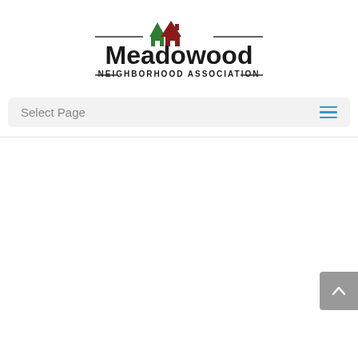[Figure (logo): Meadowood Neighborhood Association logo with house icon and horizontal lines, text reads Meadowood NEIGHBORHOOD ASSOCIATION]
Select Page
[Figure (other): Scroll to top button with upward chevron arrow, gray background, positioned at bottom right]